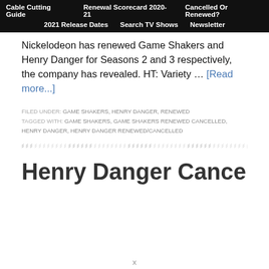Cable Cutting Guide  |  Renewal Scorecard 2020-21  |  Cancelled Or Renewed?  |  2021 Release Dates  |  Search TV Shows  |  Newsletter
Nickelodeon has renewed Game Shakers and Henry Danger for Seasons 2 and 3 respectively, the company has revealed. HT: Variety … [Read more...]
FILED UNDER: GAME SHAKERS, HENRY DANGER, RENEWED
TAGGED WITH: GAME SHAKERS, GAME SHAKERS RENEWED CANCELLED, HENRY DANGER, HENRY DANGER RENEWED/CANCELLED
Henry Danger Cancelled